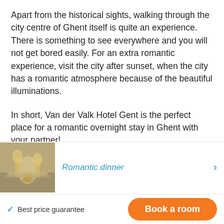Apart from the historical sights, walking through the city centre of Ghent itself is quite an experience. There is something to see everywhere and you will not get bored easily. For an extra romantic experience, visit the city after sunset, when the city has a romantic atmosphere because of the beautiful illuminations.
In short, Van der Valk Hotel Gent is the perfect place for a romantic overnight stay in Ghent with your partner!
[Figure (photo): Photo of a romantic dinner table setting with glasses, candles, and flowers]
Romantic dinner
✓ Best price guarantee
Book a room